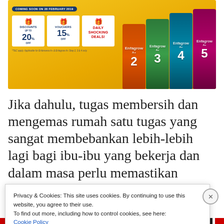[Figure (photo): Advertisement banner for Enfalac/Enfagrow baby formula products on a gold/yellow background. Shows 'Coming Soon on 28 February 2019', offers: Discounts up to 20% off, Vouchers 15% off, Daily Shocking Deals. Product cans labeled 2, 3, 4, 5 visible on the right.]
Jika dahulu, tugas membersih dan mengemas rumah satu tugas yang sangat membebankan lebih-lebih lagi bagi ibu-ibu yang bekerja dan dalam masa perlu memastikan kediaman
Privacy & Cookies: This site uses cookies. By continuing to use this website, you agree to their use.
To find out more, including how to control cookies, see here:
Cookie Policy
Close and accept